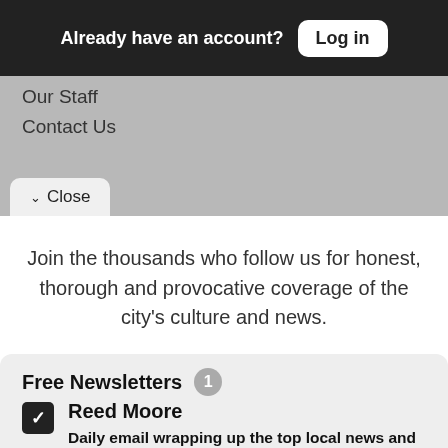Already have an account? Log in
Our Staff
Contact Us
✓ Close
Join the thousands who follow us for honest, thorough and provocative coverage of the city's culture and news.
Free Newsletters 1
Reed Moore
Daily email wrapping up the top local news and events — linking to where you can read more, from Reed Moore, that clever linker